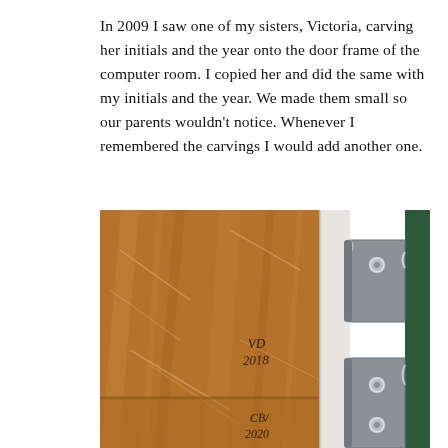In 2009 I saw one of my sisters, Victoria, carving her initials and the year onto the door frame of the computer room. I copied her and did the same with my initials and the year. We made them small so our parents wouldn't notice. Whenever I remembered the carvings I would add another one.
[Figure (illustration): A painted illustration of a wooden door frame showing carved initials 'VD 2018' and 'CB/ 2020' on the brown wood grain surface, with a metal door hinge visible on the right side, and a white wall strip and dark green frame edge.]